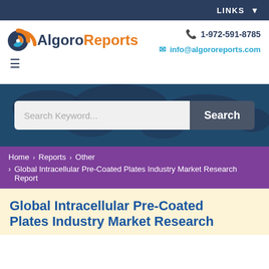LINKS
[Figure (logo): AlgoroReports logo with circular icon and brand name]
1-972-591-8785
info@algororeports.com
[Figure (screenshot): World map background with search bar containing 'Search Keyword...' input and 'Search' button]
Home > Reports > Other > Global Intracellular Pre-Coated Plates Industry Market Research Report
Global Intracellular Pre-Coated Plates Industry Market Research